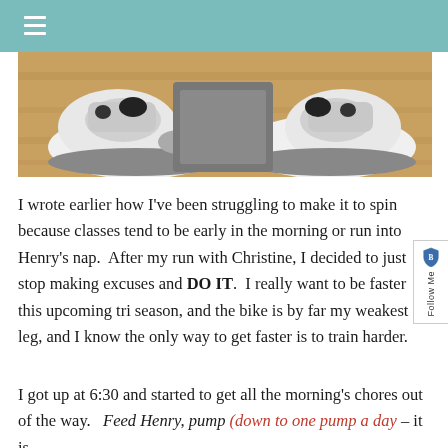≡
[Figure (photo): Close-up photo of white athletic sneakers/cycling shoes on a wooden floor next to what appears to be a suitcase or equipment case.]
I wrote earlier how I've been struggling to make it to spin because classes tend to be early in the morning or run into Henry's nap.  After my run with Christine, I decided to just stop making excuses and DO IT.  I really want to be faster this upcoming tri season, and the bike is by far my weakest leg, and I know the only way to get faster is to train harder.
I got up at 6:30 and started to get all the morning's chores out of the way.   Feed Henry, pump (down to one pump a day – it is